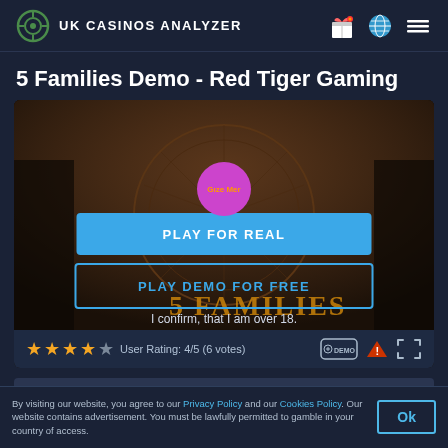UK CASINOS ANALYZER
5 Families Demo - Red Tiger Gaming
[Figure (screenshot): 5 Families slot game preview with Play for Real and Play Demo for Free buttons, circle overlay with play text, and age confirmation text. Star rating 4/5 (6 votes) shown below.]
By visiting our website, you agree to our Privacy Policy and our Cookies Policy. Our website contains advertisement. You must be lawfully permitted to gamble in your country of access.